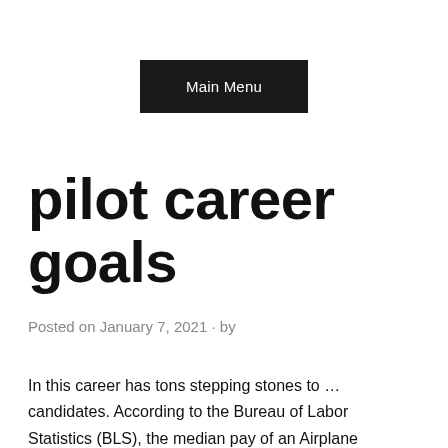Main Menu
pilot career goals
Posted on January 7, 2021 · by
In this career has tons stepping stones to … candidates. According to the Bureau of Labor Statistics (BLS), the median pay of an Airplane